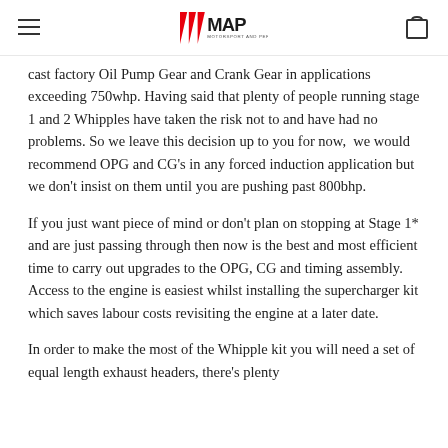MAP Motorsport and Performance
cast factory Oil Pump Gear and Crank Gear in applications exceeding 750whp. Having said that plenty of people running stage 1 and 2 Whipples have taken the risk not to and have had no problems. So we leave this decision up to you for now,  we would recommend OPG and CG's in any forced induction application but we don't insist on them until you are pushing past 800bhp.
If you just want piece of mind or don't plan on stopping at Stage 1* and are just passing through then now is the best and most efficient time to carry out upgrades to the OPG, CG and timing assembly. Access to the engine is easiest whilst installing the supercharger kit which saves labour costs revisiting the engine at a later date.
In order to make the most of the Whipple kit you will need a set of equal length exhaust headers, there's plenty